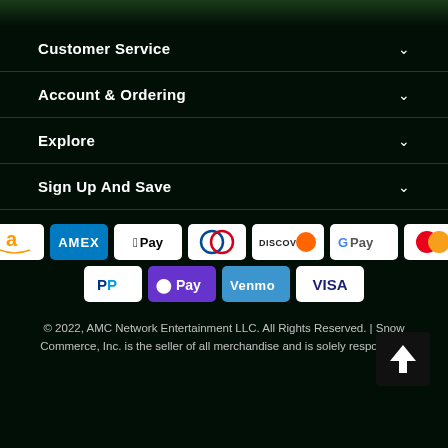Customer Service
Account & Ordering
Explore
Sign Up And Save
[Figure (infographic): Payment method icons: Amazon Pay, American Express, Apple Pay, Diners Club, Discover, Google Pay, Mastercard, PayPal, Samsung Pay (O Pay), Venmo, Visa]
© 2022, AMC Network Entertainment LLC. All Rights Reserved. | Snow Commerce, Inc. is the seller of all merchandise and is solely responsible